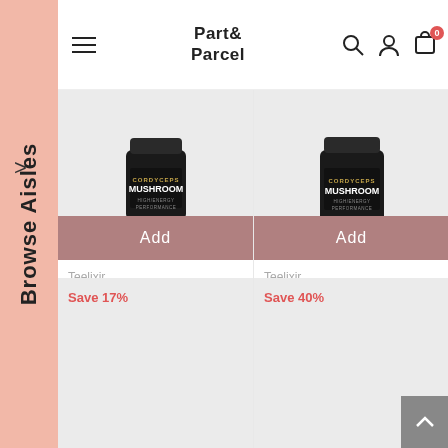Part & Parcel
[Figure (screenshot): Cordyceps Mushroom product jar (50g) — dark jar with gold text on light grey background]
Add
Teelixir
Cordyceps Mushroom
Organic | Authentic Di Tao Sc
50g   $33.70  $29.00
[Figure (screenshot): Cordyceps Mushroom product jar (100g) — dark jar with gold text on light grey background]
Add
Teelixir
Cordyceps Mushroom
Organic | Authentic Di Tao Sc
100g   $55.00  $46.50
Save 17%
Save 40%
LEARN MORE
LEARN MORE